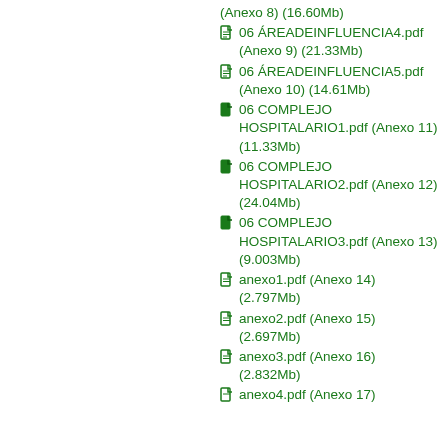(Anexo 8) (16.60Mb)
06 ÁREADEINFLUENCIA4.pdf (Anexo 9) (21.33Mb)
06 ÁREADEINFLUENCIA5.pdf (Anexo 10) (14.61Mb)
06 COMPLEJO HOSPITALARIO1.pdf (Anexo 11) (11.33Mb)
06 COMPLEJO HOSPITALARIO2.pdf (Anexo 12) (24.04Mb)
06 COMPLEJO HOSPITALARIO3.pdf (Anexo 13) (9.003Mb)
anexo1.pdf (Anexo 14) (2.797Mb)
anexo2.pdf (Anexo 15) (2.697Mb)
anexo3.pdf (Anexo 16) (2.832Mb)
anexo4.pdf (Anexo 17)